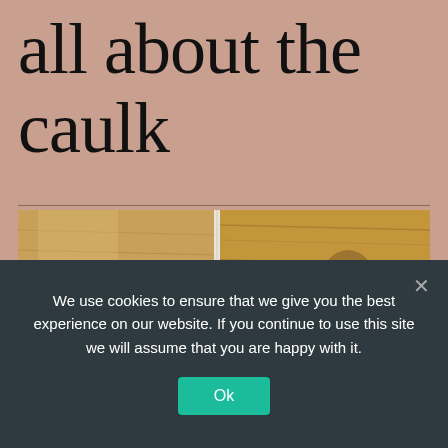all about the caulk
[Figure (photo): Close-up photograph of wooden boards or plywood with a white caulk line visible between two wood panels. The wood shows natural grain patterns and some dark staining.]
We use cookies to ensure that we give you the best experience on our website. If you continue to use this site we will assume that you are happy with it.